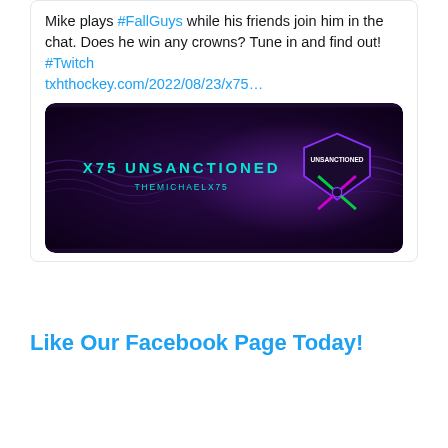Mike plays #FallGuys while his friends join him in the chat. Does he win any crowns? Tune in and find out! #Twitch txhthockey.com/2022/08/23/x75…
[Figure (screenshot): Dark purple/black banner image with text 'X75 UNSANCTIONED THEMICHAELX75' and a logo on the right side with purple wave patterns]
Like Our Facebook Page Today!